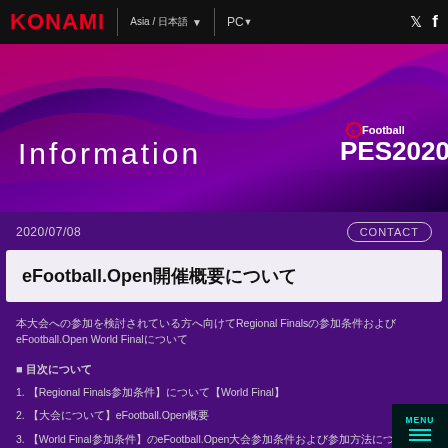KONAMI | Asia / 日本語 ▼ | PC▼ | Twitter | Facebook
[Figure (illustration): Purple gradient hero banner with wave design, showing 'Information' text on the left and eFootball PES2020 logo on the right]
2020/07/08
CONTACT
eFootball.Open開催概要について
本大会への参加を検討されている方へ向けてRegional Finalsの参加条件およびeFootball.Open World Finalについて
■ 目次について
1. 【Regional Finals参加条件】について【World Final】
2. 【大会について】eFootball.Open概要
3. 【World Final参加条件】のeFootball.Open大会参加条件および参加方法について